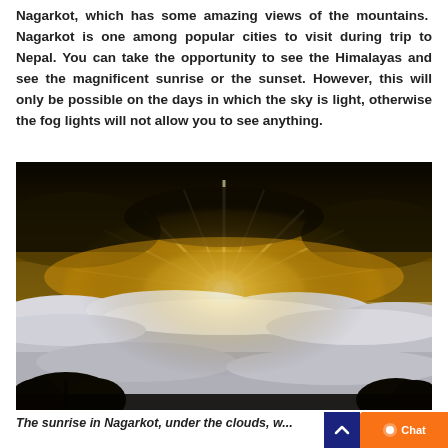Nagarkot, which has some amazing views of the mountains. Nagarkot is one among popular cities to visit during trip to Nepal. You can take the opportunity to see the Himalayas and see the magnificent sunrise or the sunset. However, this will only be possible on the days in which the sky is light, otherwise the fog lights will not allow you to see anything.
[Figure (photo): Photograph of sunrise at Nagarkot, Nepal, showing sun rays bursting through dark clouds above a sea of white clouds, with dark silhouettes of trees in the foreground. Golden sky above, white cloud sea below.]
The sunrise in Nagarkot, under the clouds, w...